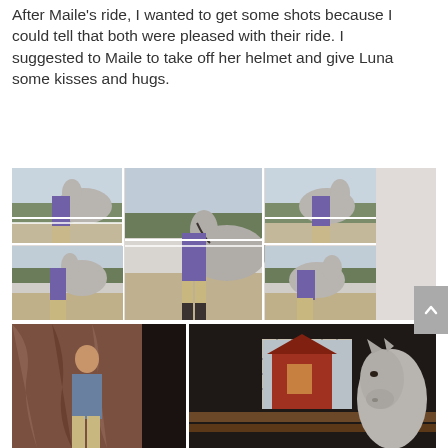After Maile's ride, I wanted to get some shots because I could tell that both were pleased with their ride. I suggested to Maile to take off her helmet and give Luna some kisses and hugs.
[Figure (photo): Collage of six photos showing a young woman in a purple shirt and tan riding breeches with a grey horse in an equestrian arena. Various poses including the woman hugging and kissing the horse, with white fencing and trees in the background.]
[Figure (photo): Two photos side by side at the bottom: left shows a woman standing in front of a brown fabric backdrop in a barn; right shows a grey horse looking out from a stall door.]